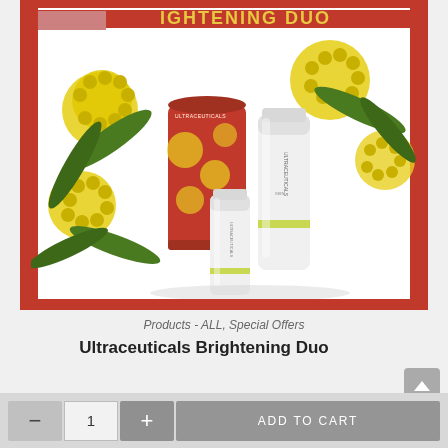[Figure (photo): Product photo of Ultraceuticals Brightening Duo set — a red cylindrical gift tin with yellow floral/pom design and two white skincare tubes (one tall, one short), surrounded by yellow wattle flowers and green leaves on a red background.]
Products - ALL, Special Offers
Ultraceuticals Brightening Duo